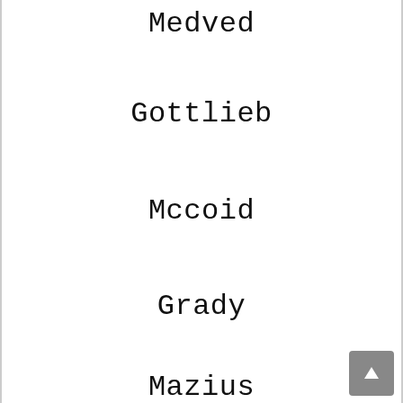Medved
Gottlieb
Mccoid
Grady
Mazius